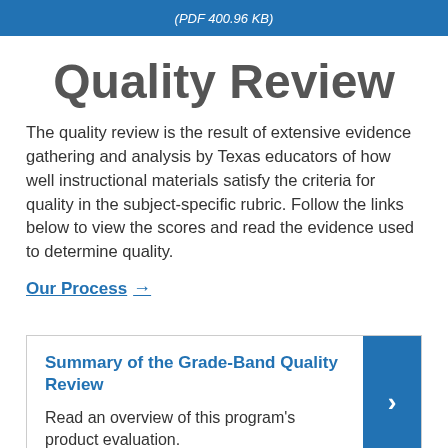(PDF 400.96 KB)
Quality Review
The quality review is the result of extensive evidence gathering and analysis by Texas educators of how well instructional materials satisfy the criteria for quality in the subject-specific rubric. Follow the links below to view the scores and read the evidence used to determine quality.
Our Process →
Summary of the Grade-Band Quality Review
Read an overview of this program's product evaluation.